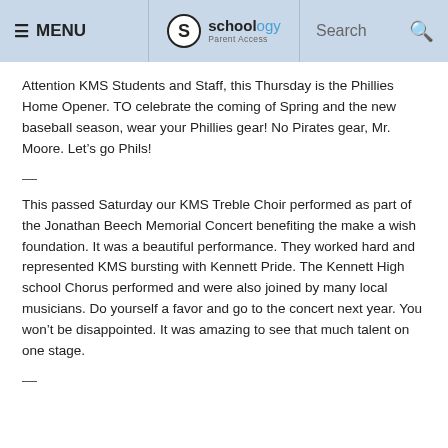MENU | Schoology Parent Access | Search
Attention KMS Students and Staff, this Thursday is the Phillies Home Opener. TO celebrate the coming of Spring and the new baseball season, wear your Phillies gear! No Pirates gear, Mr. Moore. Let’s go Phils!
—
This passed Saturday our KMS Treble Choir performed as part of the Jonathan Beech Memorial Concert benefiting the make a wish foundation. It was a beautiful performance. They worked hard and represented KMS bursting with Kennett Pride. The Kennett High school Chorus performed and were also joined by many local musicians. Do yourself a favor and go to the concert next year. You won’t be disappointed. It was amazing to see that much talent on one stage.
—